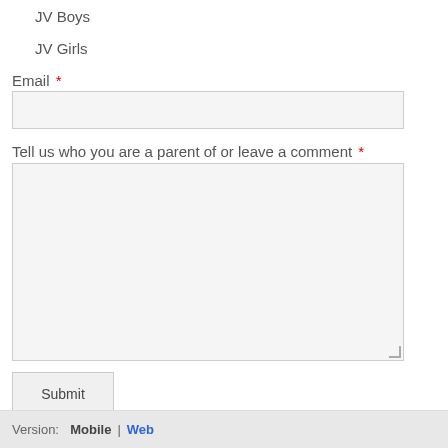JV Boys
JV Girls
Email *
Tell us who you are a parent of or leave a comment *
Submit
Version:  Mobile | Web